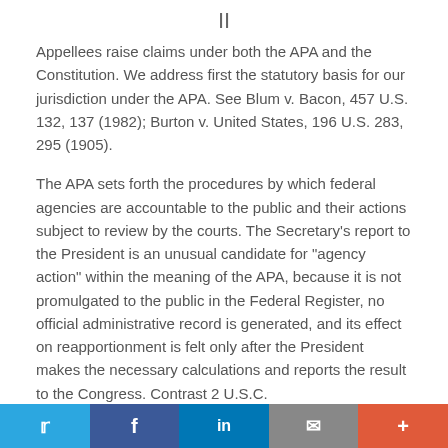II
Appellees raise claims under both the APA and the Constitution. We address first the statutory basis for our jurisdiction under the APA. See Blum v. Bacon, 457 U.S. 132, 137 (1982); Burton v. United States, 196 U.S. 283, 295 (1905).
The APA sets forth the procedures by which federal agencies are accountable to the public and their actions subject to review by the courts. The Secretary's report to the President is an unusual candidate for "agency action" within the meaning of the APA, because it is not promulgated to the public in the Federal Register, no official administrative record is generated, and its effect on reapportionment is felt only after the President makes the necessary calculations and reports the result to the Congress. Contrast 2 U.S.C.
Twitter | Facebook | LinkedIn | Email | More